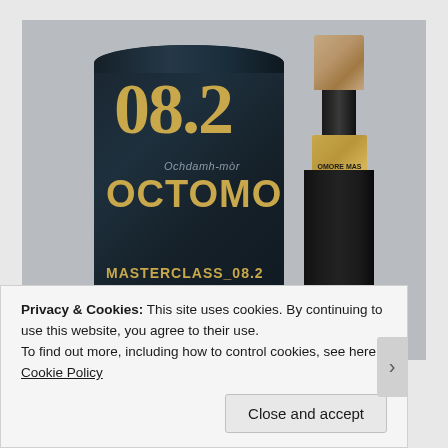[Figure (photo): Product photo showing Octomore Masterclass_08.2 whisky bottle and cylindrical dark tube packaging with gold '08.2' text. The dark tube has gold lettering reading 'OCTOMOR MASTERCLASS_08.2' and italic text 'Ochdamh-mòr'. The bottle has a bronze/gold cap and gold label.]
Privacy & Cookies: This site uses cookies. By continuing to use this website, you agree to their use.
To find out more, including how to control cookies, see here: Cookie Policy
Close and accept